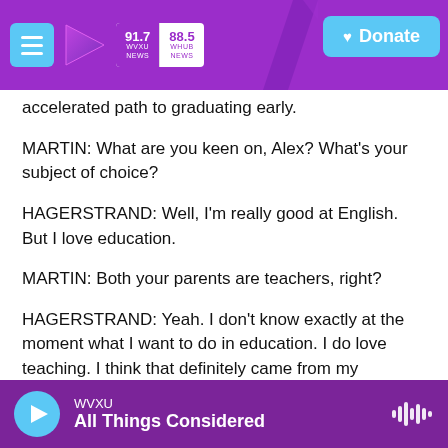WVXU 91.7 NEWS | WHUB 88.5 NEWS | Donate
accelerated path to graduating early.
MARTIN: What are you keen on, Alex? What's your subject of choice?
HAGERSTRAND: Well, I'm really good at English. But I love education.
MARTIN: Both your parents are teachers, right?
HAGERSTRAND: Yeah. I don't know exactly at the moment what I want to do in education. I do love teaching. I think that definitely came from my
WVXU | All Things Considered